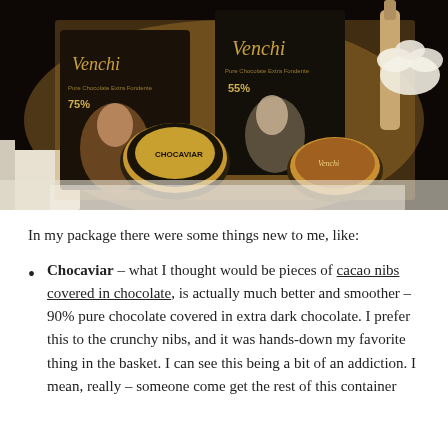[Figure (photo): Open box containing Venchi chocolate bars (75% and 55% Pure Chocolate Extra Fondente), Chocaviar tin, a round gold Venchi container, a decorative bottle, and a white flower, photographed from above.]
In my package there were some things new to me, like:
Chocaviar – what I thought would be pieces of cacao nibs covered in chocolate, is actually much better and smoother – 90% pure chocolate covered in extra dark chocolate. I prefer this to the crunchy nibs, and it was hands-down my favorite thing in the basket. I can see this being a bit of an addiction. I mean, really – someone come get the rest of this container